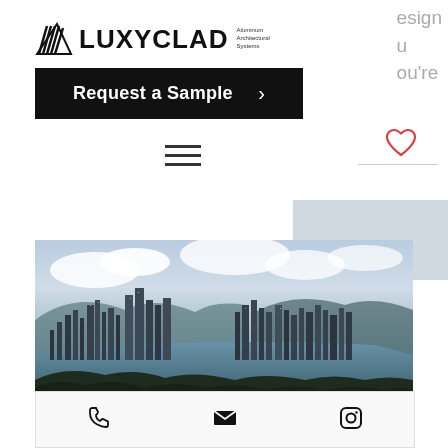[Figure (logo): LuxyCLad Aluminum Architectural Systems logo with geometric icon]
esign
u
ou're
Request a Sample >
[Figure (other): Heart (favorite) icon outline in red]
[Figure (other): Hamburger menu icon (three horizontal lines)]
[Figure (photo): Aerial cityscape photo of Hong Kong harbor with skyscrapers, water, mountains, and cloudy sky]
[Figure (other): Footer bar with phone, email, and Instagram icons]